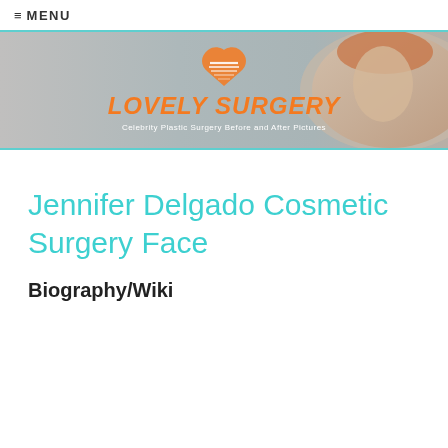≡ MENU
[Figure (logo): Lovely Surgery website banner with heart/logo icon, orange italic text 'LOVELY SURGERY', tagline 'Celebrity Plastic Surgery Before and After Pictures', woman's face in background]
Jennifer Delgado Cosmetic Surgery Face
Biography/Wiki